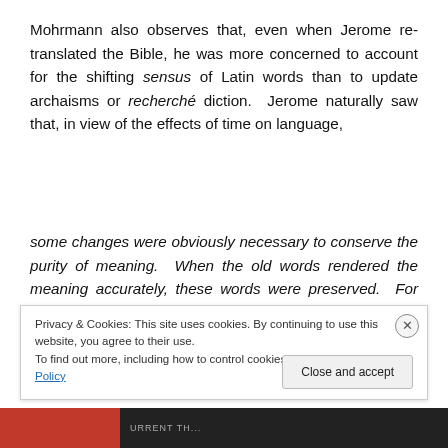Mohrmann also observes that, even when Jerome retranslated the Bible, he was more concerned to account for the shifting sensus of Latin words than to update archaisms or recherché diction. Jerome naturally saw that, in view of the effects of time on language,
some changes were obviously necessary to conserve the purity of meaning. When the old words rendered the meaning accurately, these words were preserved. For instance, when there was a general movement to replace the...
Privacy & Cookies: This site uses cookies. By continuing to use this website, you agree to their use.
To find out more, including how to control cookies, see here: Cookie Policy